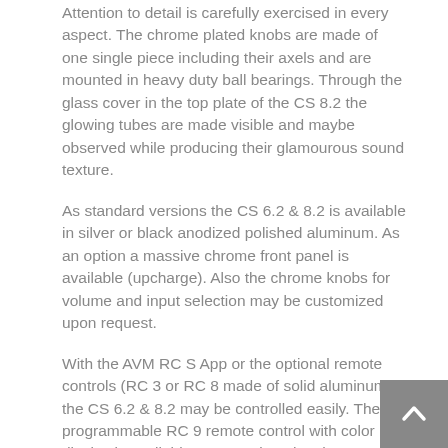Attention to detail is carefully exercised in every aspect. The chrome plated knobs are made of one single piece including their axels and are mounted in heavy duty ball bearings. Through the glass cover in the top plate of the CS 8.2 the glowing tubes are made visible and maybe observed while producing their glamourous sound texture.
As standard versions the CS 6.2 & 8.2 is available in silver or black anodized polished aluminum. As an option a massive chrome front panel is available (upcharge). Also the chrome knobs for volume and input selection may be customized upon request.
With the AVM RC S App or the optional remote controls (RC 3 or RC 8 made of solid aluminum) the CS 6.2 & 8.2 may be controlled easily. The programmable RC 9 remote control with color display is available as an option, the charger cradle is included with the RC 9.
Like all AVM hi-fi components the CS 6.2 & 8.2 is carefully developed and assembled by our engineers in Malsch, Germany. Our vendors for housing and electronic parts reside all near-by. This proximity helps